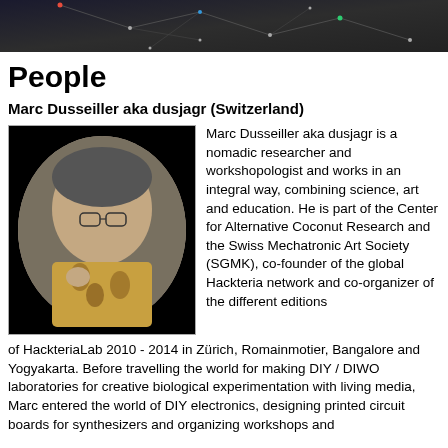[Figure (photo): Dark header banner with network/graph lines overlay in dark grey tones]
People
Marc Dusseiller aka dusjagr (Switzerland)
[Figure (photo): Photo of Marc Dusseiller (dusjagr), a man with glasses wearing a floral shirt, holding something in his hand, shown in a circular crop on black background]
Marc Dusseiller aka dusjagr is a nomadic researcher and workshopologist and works in an integral way, combining science, art and education. He is part of the Center for Alternative Coconut Research and the Swiss Mechatronic Art Society (SGMK), co-founder of the global Hackteria network and co-organizer of the different editions of HackteriaLab 2010 - 2014 in Zürich, Romainmotier, Bangalore and Yogyakarta. Before travelling the world for making DIY / DIWO laboratories for creative biological experimentation with living media, Marc entered the world of DIY electronics, designing printed circuit boards for synthesizers and organizing workshops and